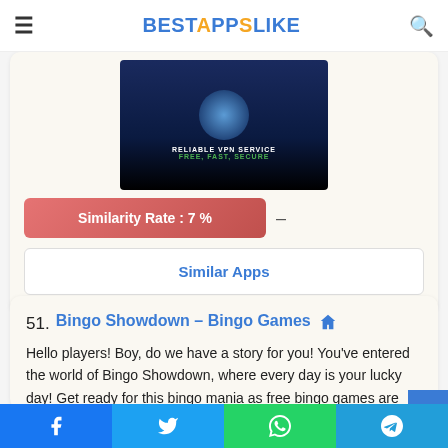BESTAPPSLIKE
[Figure (screenshot): VPN app screenshot showing dark blue background with text RELIABLE VPN SERVICE and FREE, FAST, SECURE]
Similarity Rate : 7 %
Similar Apps
51. Bingo Showdown – Bingo Games
Hello players! Boy, do we have a story for you! You've entered the world of Bingo Showdown, where every day is your lucky day! Get ready for this bingo mania as free bingo games are